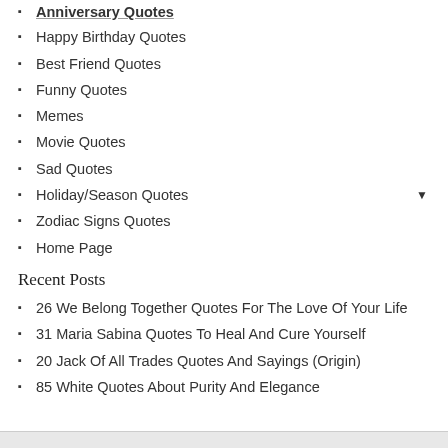Anniversary Quotes
Happy Birthday Quotes
Best Friend Quotes
Funny Quotes
Memes
Movie Quotes
Sad Quotes
Holiday/Season Quotes
Zodiac Signs Quotes
Home Page
Recent Posts
26 We Belong Together Quotes For The Love Of Your Life
31 Maria Sabina Quotes To Heal And Cure Yourself
20 Jack Of All Trades Quotes And Sayings (Origin)
85 White Quotes About Purity And Elegance